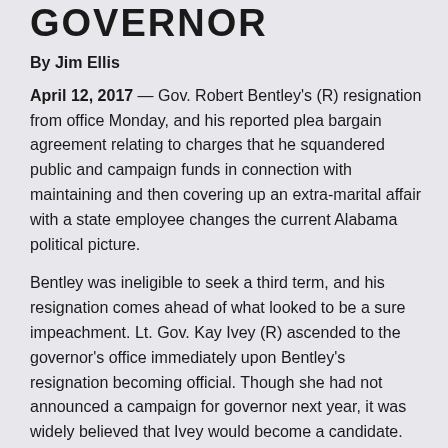GOVERNOR
By Jim Ellis
April 12, 2017 — Gov. Robert Bentley's (R) resignation from office Monday, and his reported plea bargain agreement relating to charges that he squandered public and campaign funds in connection with maintaining and then covering up an extra-marital affair with a state employee changes the current Alabama political picture.
Bentley was ineligible to seek a third term, and his resignation comes ahead of what looked to be a sure impeachment. Lt. Gov. Kay Ivey (R) ascended to the governor's office immediately upon Bentley's resignation becoming official. Though she had not announced a campaign for governor next year, it was widely believed that Ivey would become a candidate.